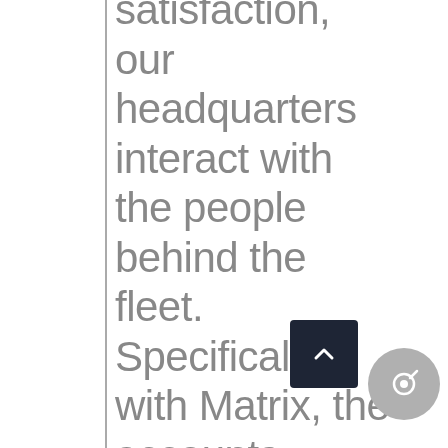satisfaction, our headquarters interact with the people behind the fleet. Specifically, with Matrix, the accounts